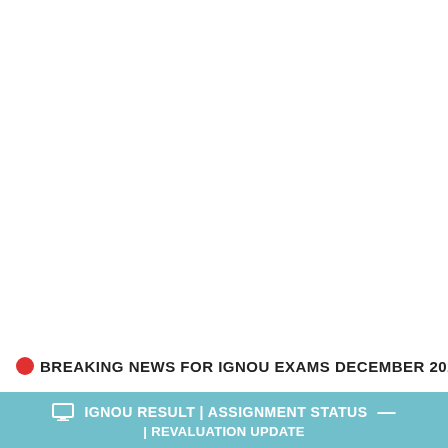BREAKING NEWS FOR IGNOU EXAMS DECEMBER 2021
IGNOU RESULT | ASSIGNMENT STATUS | REVALUATION UPDATE